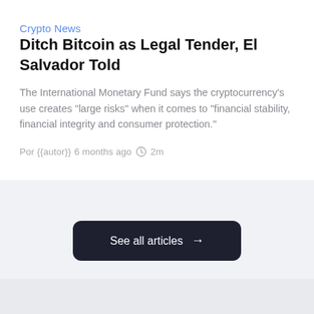Crypto News
Ditch Bitcoin as Legal Tender, El Salvador Told
The International Monetary Fund says the cryptocurrency's use creates "large risks" when it comes to "financial stability, financial integrity and consumer protection."
Por {{autor}}
6 months ago   2m
See all articles →